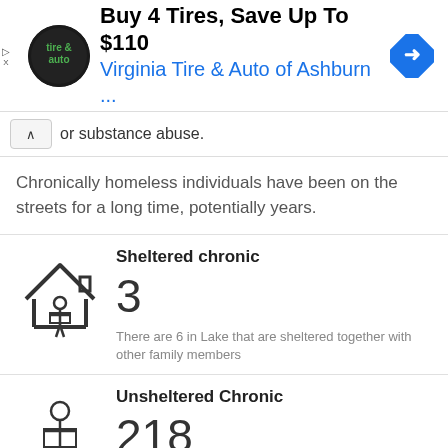[Figure (infographic): Advertisement banner: Virginia Tire & Auto of Ashburn - Buy 4 Tires, Save Up To $110]
or substance abuse.
Chronically homeless individuals have been on the streets for a long time, potentially years.
[Figure (infographic): Icon of person under a roof shelter holding a sign]
Sheltered chronic
3
There are 6 in Lake that are sheltered together with other family members
[Figure (infographic): Icon of unsheltered person holding a sign]
Unsheltered Chronic
218